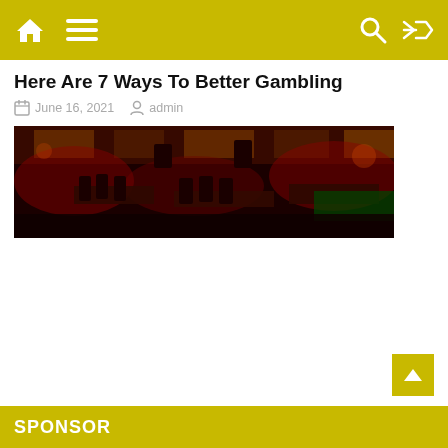Navigation bar with home icon, menu, search and shuffle icons
Here Are 7 Ways To Better Gambling
June 16, 2021   admin
[Figure (photo): Interior of a casino with red lighting, gaming tables, chairs and slot machines visible in the background]
Straightforward Steps To Casino Of Your Dreams
January 4, 2021   admin
SPONSOR